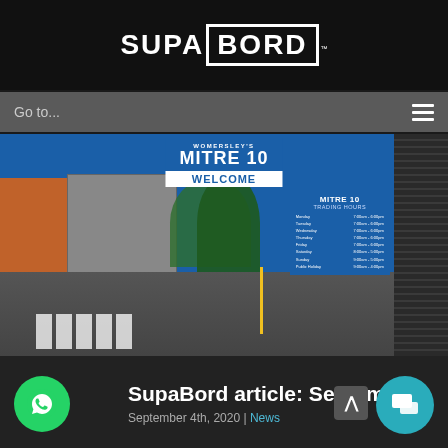SUPA BORD
Go to...
[Figure (photo): Exterior photo of Womersley's Mitre 10 hardware store with blue building, welcome sign, trading hours board, scaffolding on left, crosswalk in foreground]
SupaBord article: September
September 4th, 2020 | News